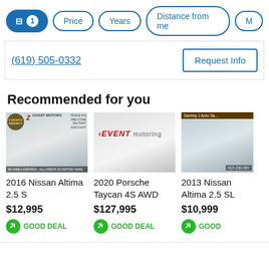Filter controls: [active filter icon 1] | Price | Years | Distance from me | M...
(619) 505-0332
Request Info
Recommended for you
[Figure (photo): 2016 Nissan Altima 2.5 S car listing photo from Coast Motors dealership]
2016 Nissan Altima 2.5 S
$12,995
GOOD DEAL
[Figure (photo): 2020 Porsche Taycan 4S AWD car listing photo from Event Motoring]
2020 Porsche Taycan 4S AWD
$127,995
GOOD DEAL
[Figure (photo): 2013 Nissan Altima 2.5 SL car listing photo from Sammy J Auto Sales]
2013 Nissan Altima 2.5 SL
$10,999
GOOD